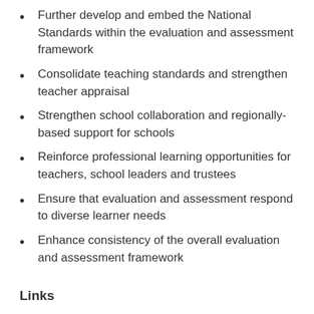Further develop and embed the National Standards within the evaluation and assessment framework
Consolidate teaching standards and strengthen teacher appraisal
Strengthen school collaboration and regionally-based support for schools
Reinforce professional learning opportunities for teachers, school leaders and trustees
Ensure that evaluation and assessment respond to diverse learner needs
Enhance consistency of the overall evaluation and assessment framework
Links
OECD Reviews of Evaluation and Assessment in